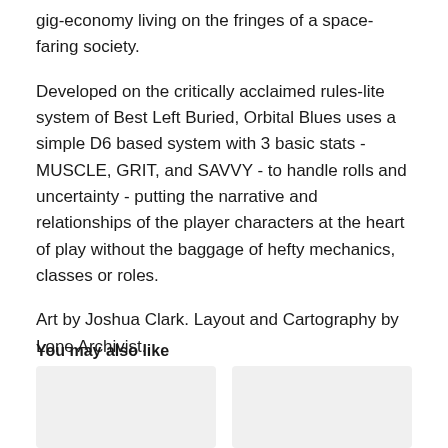gig-economy living on the fringes of a space-faring society.
Developed on the critically acclaimed rules-lite system of Best Left Buried, Orbital Blues uses a simple D6 based system with 3 basic stats - MUSCLE, GRIT, and SAVVY - to handle rolls and uncertainty - putting the narrative and relationships of the player characters at the heart of play without the baggage of hefty mechanics, classes or roles.
Art by Joshua Clark. Layout and Cartography by Lone Archivist.
You may also like
[Figure (other): Two placeholder image cards side by side]
[Figure (other): Two placeholder image cards side by side]